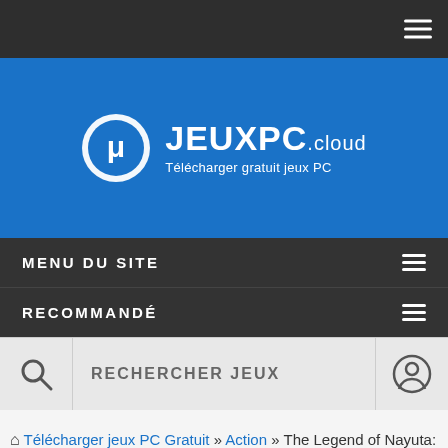[Figure (logo): JEUXPC.cloud website header with uTorrent-style circular logo and text 'JEUXPC.cloud - Télécharger gratuit jeux PC' on blue background]
MENU DU SITE
RECOMMANDÉ
RECHERCHER JEUX
🏠 Télécharger jeux PC Gratuit » Action » The Legend of Nayuta: Boundless Trails